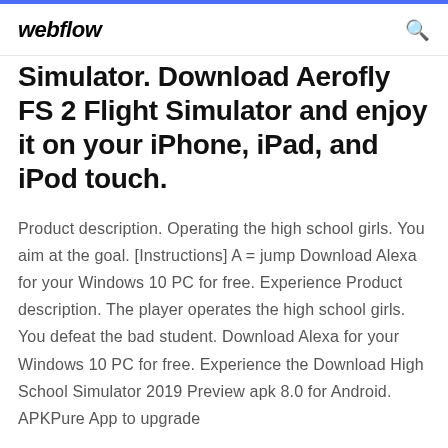webflow
Simulator. Download Aerofly FS 2 Flight Simulator and enjoy it on your iPhone, iPad, and iPod touch.
Product description. Operating the high school girls. You aim at the goal. [Instructions] A = jump Download Alexa for your Windows 10 PC for free. Experience Product description. The player operates the high school girls. You defeat the bad student. Download Alexa for your Windows 10 PC for free. Experience the Download High School Simulator 2019 Preview apk 8.0 for Android. APKPure App to upgrade